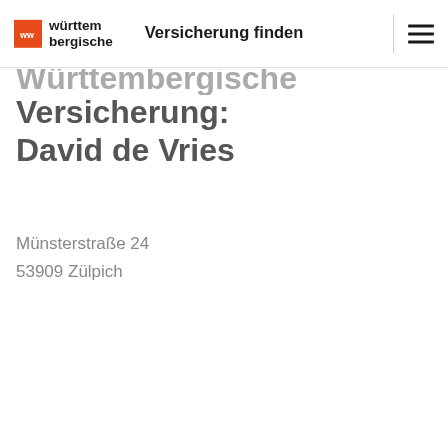Versicherung finden
Württembergische Versicherung: David de Vries
Münsterstraße 24
53909 Zülpich